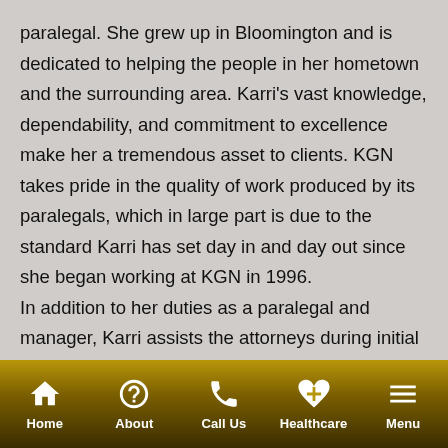paralegal. She grew up in Bloomington and is dedicated to helping the people in her hometown and the surrounding area. Karri's vast knowledge, dependability, and commitment to excellence make her a tremendous asset to clients. KGN takes pride in the quality of work produced by its paralegals, which in large part is due to the standard Karri has set day in and day out since she began working at KGN in 1996.

In addition to her duties as a paralegal and manager, Karri assists the attorneys during initial consultation with clients and is typically the point of
Home | About | Call Us | Healthcare | Menu